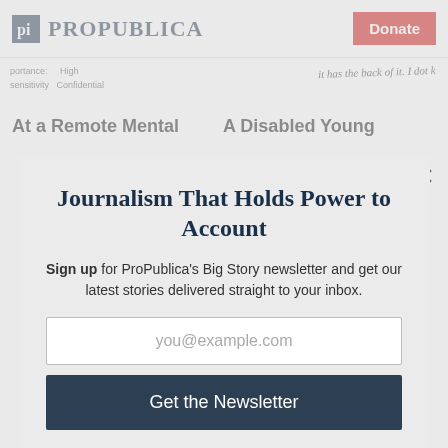ProPublica | Donate
[Figure (screenshot): Partially visible ProPublica article page with document snippet showing 'portance: High' and 'Sensitivity: Confidential' metadata, handwriting text, and article headlines 'At a Remote Mental' and 'A Disabled Young']
Journalism That Holds Power to Account
Sign up for ProPublica's Big Story newsletter and get our latest stories delivered straight to your inbox.
you@example.com
Get the Newsletter
No thanks, I'm all set
This site is protected by reCAPTCHA and the Google Privacy Policy and Terms of Service apply.